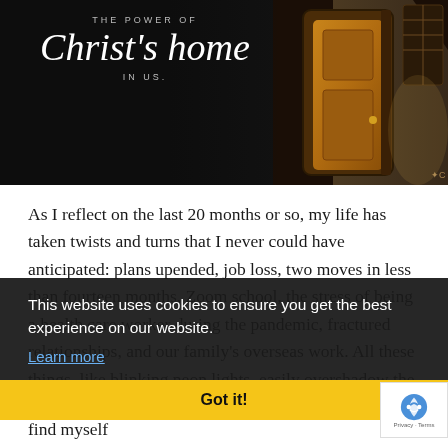[Figure (photo): Dark background book/sermon cover image with text 'THE POWER OF Christ's home IN US.' and a decorative wooden door on the right side]
As I reflect on the last 20 months or so, my life has taken twists and turns that I never could have anticipated: plans upended, job loss, two moves in less than fourteen months, Zoom school, the stress of being a health care worker during the pandemic, fractured relationships, and our family's overseas work. All these things, like blinking neon lights, easily overshadow the good that came out of lockdown and pandemic stress.
This website uses cookies to ensure you get the best experience on our website. Learn more Got it!
However, I still stand in a strange gap—one moment I find myself